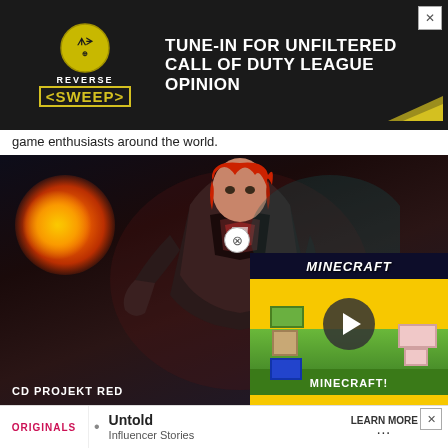[Figure (screenshot): Advertisement banner: dark background with Reverse Sweep logo and text 'TUNE-IN FOR UNFILTERED CALL OF DUTY LEAGUE OPINION']
game enthusiasts around the world.
[Figure (photo): CD Projekt Red game screenshot showing Triss Merigold, a red-haired female character in dark armor casting fire magic, with a Minecraft advertisement overlay in bottom right]
Triss Merigold is a powerful enchantress with a fiery persona
[Figure (screenshot): Bottom advertisement: Originals logo with 'Untold Influencer Stories' and 'LEARN MORE' call to action]